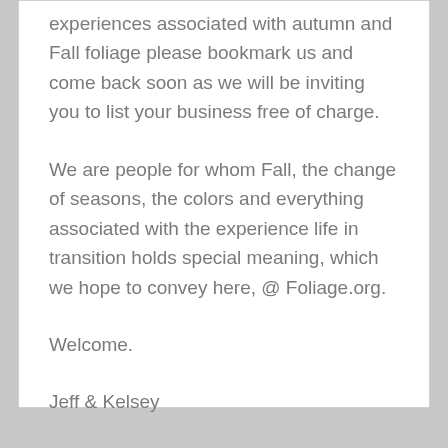experiences associated with autumn and Fall foliage please bookmark us and come back soon as we will be inviting you to list your business free of charge.
We are people for whom Fall, the change of seasons, the colors and everything associated with the experience life in transition holds special meaning, which we hope to convey here, @ Foliage.org.
Welcome.
Jeff & Kelsey